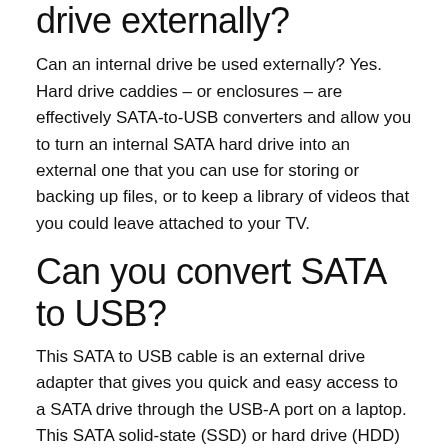drive externally?
Can an internal drive be used externally? Yes. Hard drive caddies – or enclosures – are effectively SATA-to-USB converters and allow you to turn an internal SATA hard drive into an external one that you can use for storing or backing up files, or to keep a library of videos that you could leave attached to your TV.
Can you convert SATA to USB?
This SATA to USB cable is an external drive adapter that gives you quick and easy access to a SATA drive through the USB-A port on a laptop. This SATA solid-state (SSD) or hard drive (HDD) adapter lets you upgrade to an external 2.5"" SATA SSD or HDD.
Does an HDD need an